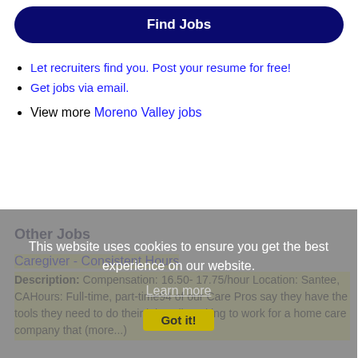[Figure (other): Find Jobs button - dark navy rounded rectangle button with white bold text]
Let recruiters find you. Post your resume for free!
Get jobs via email.
View more Moreno Valley jobs
Other Jobs
This website uses cookies to ensure you get the best experience on our website. Learn more Got it!
Caregiver - Consistent Hours
Description: Compensation: 16.50- 17.75/hour Location: Santee, CAHours: Full-time, part-time94 of our Care Pros say they have the tools they need to do their job well Looking to work for a home care company that (more...)